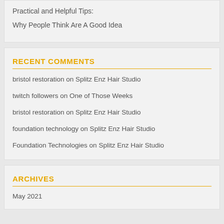Practical and Helpful Tips:
Why People Think Are A Good Idea
RECENT COMMENTS
bristol restoration on Splitz Enz Hair Studio
twitch followers on One of Those Weeks
bristol restoration on Splitz Enz Hair Studio
foundation technology on Splitz Enz Hair Studio
Foundation Technologies on Splitz Enz Hair Studio
ARCHIVES
May 2021